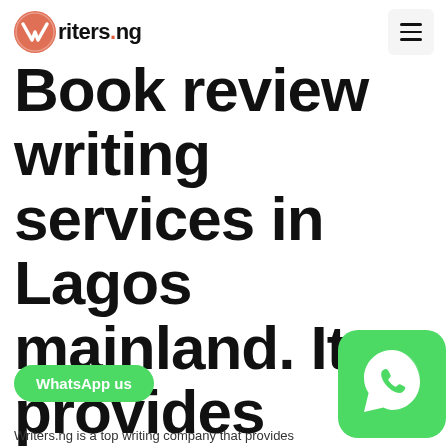Writers.ng
Book review writing services in Lagos mainland. It provides copywriting services, content writing services and blog publishing services.
WhatsApp us
Writers.ng is a top writing company that provides